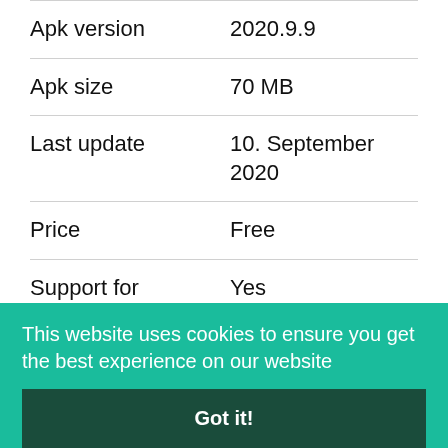| Property | Value |
| --- | --- |
| Apk version | 2020.9.9 |
| Apk size | 70 MB |
| Last update | 10. September 2020 |
| Price | Free |
| Support for Android | Yes |
This website uses cookies to ensure you get the best experience on our website
Got it!